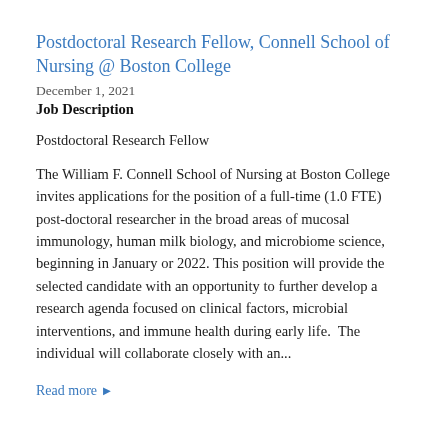Postdoctoral Research Fellow, Connell School of Nursing @ Boston College
December 1, 2021
Job Description
Postdoctoral Research Fellow
The William F. Connell School of Nursing at Boston College invites applications for the position of a full-time (1.0 FTE) post-doctoral researcher in the broad areas of mucosal immunology, human milk biology, and microbiome science, beginning in January or 2022. This position will provide the selected candidate with an opportunity to further develop a research agenda focused on clinical factors, microbial interventions, and immune health during early life.  The individual will collaborate closely with an...
Read more ▶